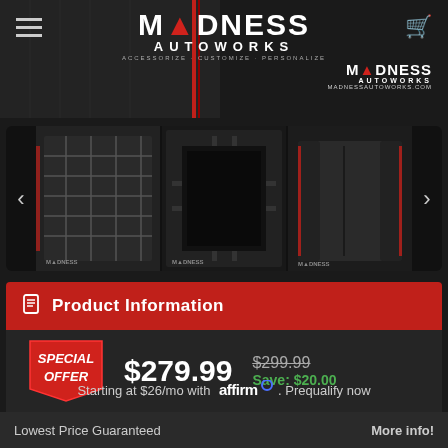[Figure (screenshot): Madness Autoworks website header with logo, hamburger menu, and cart icon on dark background with car interior imagery]
[Figure (photo): Carousel of three car interior/cargo area photos showing vehicle accessories from Madness Autoworks]
Product Information
SPECIAL OFFER $279.99 $299.99 Save: $20.00
Starting at $26/mo with affirm. Prequalify now
Lowest Price Guaranteed  More info!